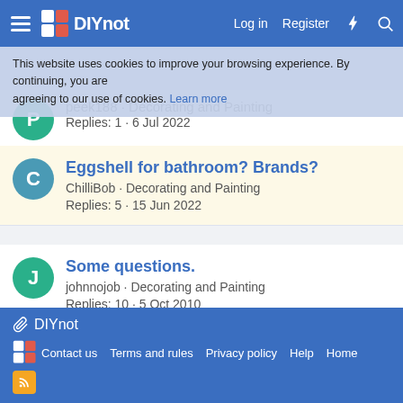DIYnot — Log in | Register
This website uses cookies to improve your browsing experience. By continuing, you are agreeing to our use of cookies. Learn more
peek188 · Decorating and Painting — Replies: 1 · 6 Jul 2022
Eggshell for bathroom? Brands? — ChilliBob · Decorating and Painting — Replies: 5 · 15 Jun 2022
Some questions. — johnnojob · Decorating and Painting — Replies: 10 · 5 Oct 2010
Share:
< Plastering and Rendering
DIYnot — Contact us · Terms and rules · Privacy policy · Help · Home